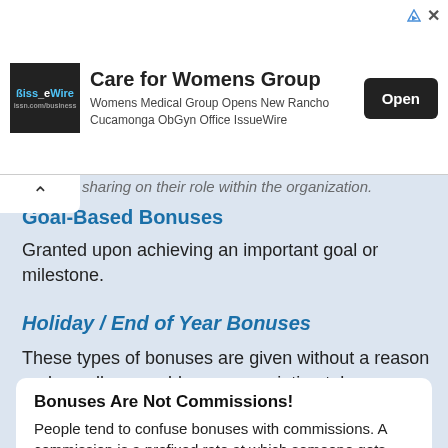[Figure (other): Advertisement banner for Care for Womens Group - Womens Medical Group Opens New Rancho Cucamonga ObGyn Office IssueWire, with Open button]
sharing on their role within the organization.
Goal-Based Bonuses
Granted upon achieving an important goal or milestone.
Holiday / End of Year Bonuses
These types of bonuses are given without a reason and usually resemble an appreciation token.
Bonuses Are Not Commissions!
People tend to confuse bonuses with commissions. A commission is a prefixed rate at which someone gets paid for items